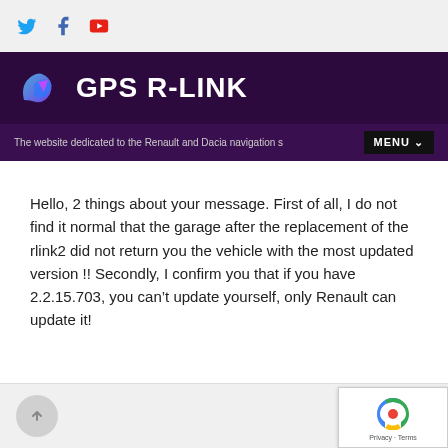GPS R-LINK — The website dedicated to the Renault and Dacia navigation systems
Hello, 2 things about your message. First of all, I do not find it normal that the garage after the replacement of the rlink2 did not return you the vehicle with the most updated version !! Secondly, I confirm you that if you have 2.2.15.703, you can't update yourself, only Renault can update it!